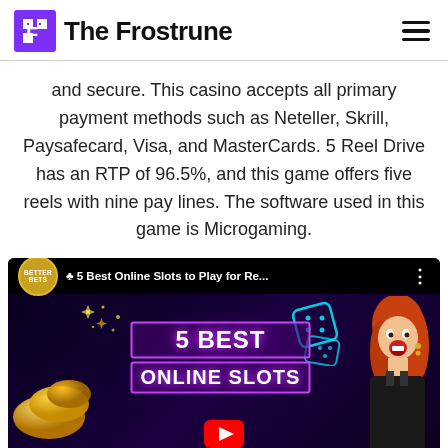The Frostrune
and secure. This casino accepts all primary payment methods such as Neteller, Skrill, Paysafecard, Visa, and MasterCards. 5 Reel Drive has an RTP of 96.5%, and this game offers five reels with nine pay lines. The software used in this game is Microgaming.
[Figure (screenshot): YouTube video thumbnail titled '5 Best Online Slots to Play for Re...' from Better Bets channel, showing neon-styled text '5 BEST ONLINE SLOTS' with coins, dice, and a woman with red hair against a dark background.]